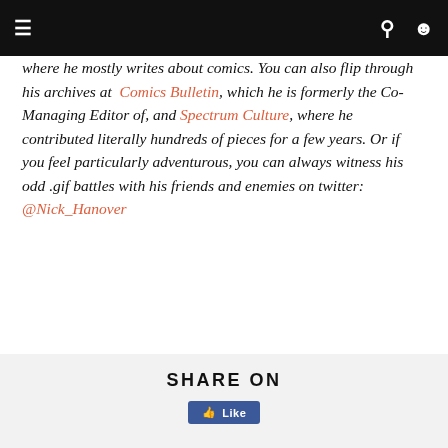Navigation bar with menu, search, and user icons
where he mostly writes about comics. You can also flip through his archives at Comics Bulletin, which he is formerly the Co-Managing Editor of, and Spectrum Culture, where he contributed literally hundreds of pieces for a few years. Or if you feel particularly adventurous, you can always witness his odd .gif battles with his friends and enemies on twitter: @Nick_Hanover
A GIANT DOG
FERAL FUTURE
FUTURE DEATH
HOLIDAY MOUNTAIN
LES RAV
MEGAFAUNA
RUBY FRAY
TELE NOVELLA
UME
SHARE ON